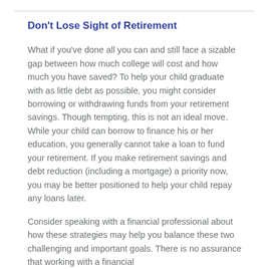Don't Lose Sight of Retirement
What if you've done all you can and still face a sizable gap between how much college will cost and how much you have saved? To help your child graduate with as little debt as possible, you might consider borrowing or withdrawing funds from your retirement savings. Though tempting, this is not an ideal move. While your child can borrow to finance his or her education, you generally cannot take a loan to fund your retirement. If you make retirement savings and debt reduction (including a mortgage) a priority now, you may be better positioned to help your child repay any loans later.
Consider speaking with a financial professional about how these strategies may help you balance these two challenging and important goals. There is no assurance that working with a financial